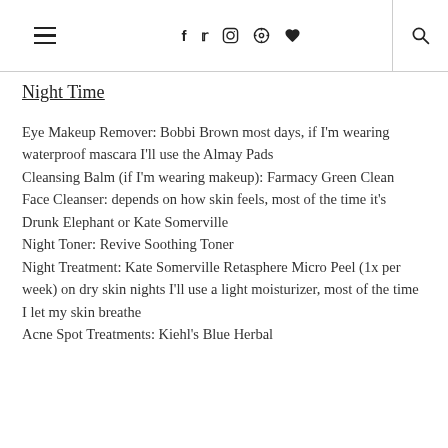≡  f  t  ◎  ⊕  ♥  🔍
Night Time
Eye Makeup Remover: Bobbi Brown most days, if I'm wearing waterproof mascara I'll use the Almay Pads
Cleansing Balm (if I'm wearing makeup): Farmacy Green Clean
Face Cleanser: depends on how skin feels, most of the time it's Drunk Elephant or Kate Somerville
Night Toner: Revive Soothing Toner
Night Treatment: Kate Somerville Retasphere Micro Peel (1x per week) on dry skin nights I'll use a light moisturizer, most of the time I let my skin breathe
Acne Spot Treatments: Kiehl's Blue Herbal